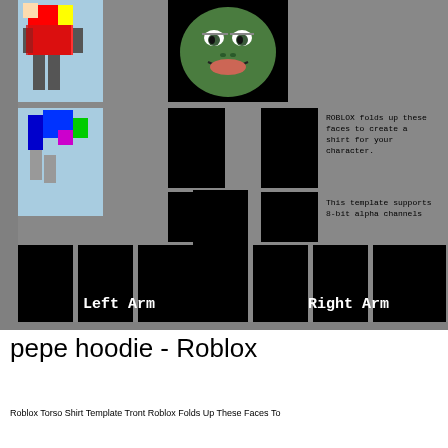[Figure (illustration): Roblox shirt template showing a gray background with black squares representing shirt panels, two preview images of Roblox characters on the left, a Pepe the Frog face image at the top center, annotation text explaining template, and Left Arm / Right Arm labels at the bottom.]
pepe hoodie - Roblox
Roblox Torso Shirt Template Tront Roblox Folds Up These Faces To